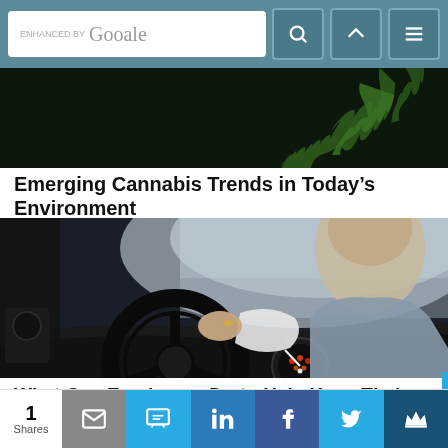[Figure (screenshot): Google search bar with enhanced by Google text, search icon button, up arrow nav button, and hamburger menu button on teal background]
[Figure (photo): Dark background with green cannabis/marijuana leaf visible in upper right corner]
Emerging Cannabis Trends in Today’s Environment
[Figure (photo): Person driving a car viewed from behind, hands on steering wheel, dashboard and gauges visible]
What Can Employers Do to Help Keep Their Workers Safe on the Roads?
[Figure (infographic): Social share bar showing 1 Share count, email button, SMS button, LinkedIn button, Facebook button, Twitter bird button, and crown/bookmark button]